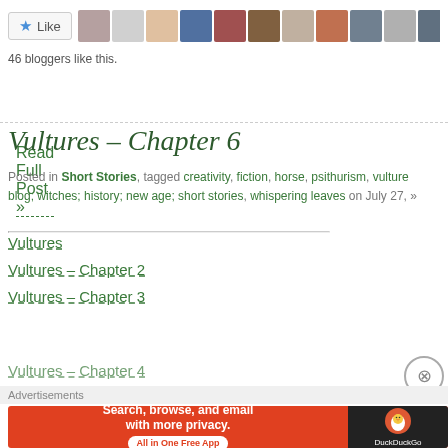[Figure (other): Like button with star icon and row of blogger avatar thumbnails]
46 bloggers like this.
Read Full Post »
Vultures – Chapter 6
Posted in Short Stories, tagged creativity, fiction, horse, psithurism, vulture blog; witches; history; new age; short stories, whispering leaves on July 27, »
Vultures
Vultures – Chapter 2
Vultures – Chapter 3
Vultures – Chapter 4
Advertisements
[Figure (other): DuckDuckGo advertisement banner: Search, browse, and email with more privacy. All in One Free App]